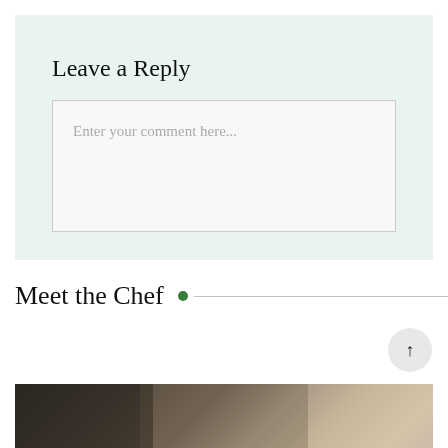Leave a Reply
Enter your comment here...
Meet the Chef
[Figure (photo): Photo of people in a kitchen or restaurant setting, partially visible at bottom of page]